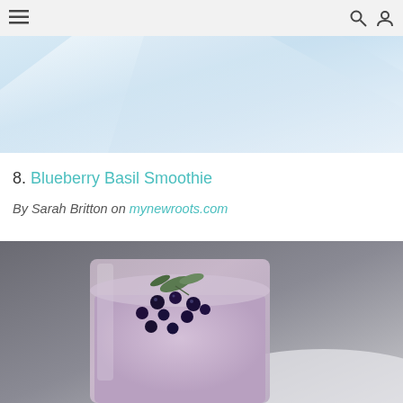≡  🔍  👤
[Figure (photo): Top partial image showing a light blue/white background, cropped view of a smoothie or food photo]
8. Blueberry Basil Smoothie
By Sarah Britton on mynewroots.com
[Figure (photo): Photo of a glass of blueberry basil smoothie topped with fresh blueberries and a sprig of basil herb, photographed from above on a white surface with gray background]